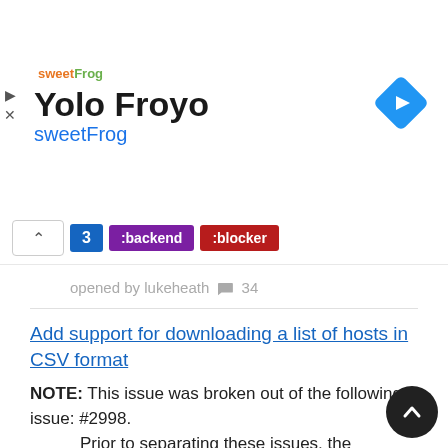[Figure (logo): sweetFrog logo with orange 'sweet' and green 'Frog' text]
Yolo Froyo
sweetFrog
[Figure (illustration): Blue diamond navigation/directions icon with right-arrow]
3  :backend  :blocker
opened by lukeheath 💬 34
Add support for downloading a list of hosts in CSV format
NOTE: This issue was broken out of the following issue: #2998.
    Prior to separating these issues, the combined estimation from the